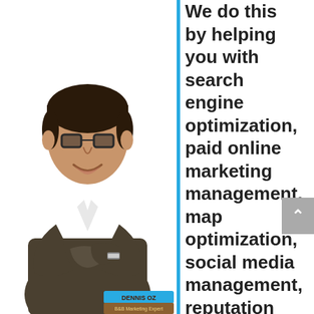[Figure (photo): A man in a dark suit with arms crossed, smiling, wearing glasses. Below him is a name badge graphic reading 'DENNIS OZ' in cyan/teal and 'B&B Marketing Expert' in brown/tan.]
We do this by helping you with search engine optimization, paid online marketing management, map optimization, social media management, reputation management and other Internet marketing tools. There are so many different things in the